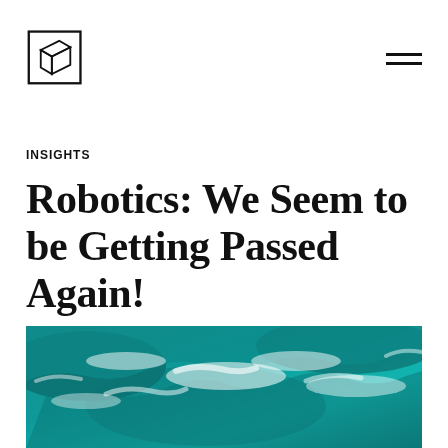[Logo: cube icon] [Hamburger menu]
INSIGHTS
Robotics: We Seem to be Getting Passed Again!
[Figure (photo): Aerial view of ocean waves with teal and white water]